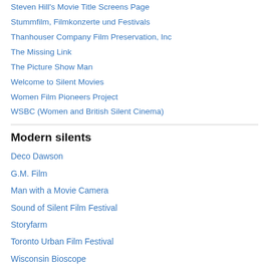Steven Hill's Movie Title Screens Page
Stummfilm, Filmkonzerte und Festivals
Thanhouser Company Film Preservation, Inc
The Missing Link
The Picture Show Man
Welcome to Silent Movies
Women Film Pioneers Project
WSBC (Women and British Silent Cinema)
Modern silents
Deco Dawson
G.M. Film
Man with a Movie Camera
Sound of Silent Film Festival
Storyfarm
Toronto Urban Film Festival
Wisconsin Bioscope